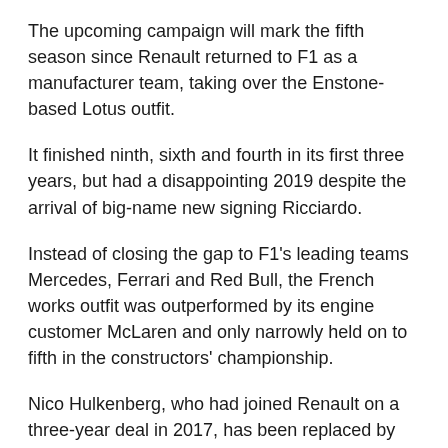The upcoming campaign will mark the fifth season since Renault returned to F1 as a manufacturer team, taking over the Enstone-based Lotus outfit.
It finished ninth, sixth and fourth in its first three years, but had a disappointing 2019 despite the arrival of big-name new signing Ricciardo.
Instead of closing the gap to F1's leading teams Mercedes, Ferrari and Red Bull, the French works outfit was outperformed by its engine customer McLaren and only narrowly held on to fifth in the constructors' championship.
Nico Hulkenberg, who had joined Renault on a three-year deal in 2017, has been replaced by Ocon for the coming season, the Mercedes protege returning to the F1 grid to partner Ricciardo after a year out.
Renault, which has also split with its technical director